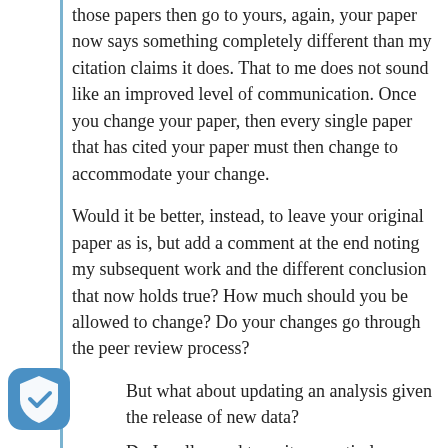those papers then go to yours, again, your paper now says something completely different than my citation claims it does. That to me does not sound like an improved level of communication. Once you change your paper, then every single paper that has cited your paper must then change to accommodate your change.
Would it be better, instead, to leave your original paper as is, but add a comment at the end noting my subsequent work and the different conclusion that now holds true? How much should you be allowed to change? Do your changes go through the peer review process?
But what about updating an analysis given the release of new data?
Do I really need to write an entirely new introduction, methodology and so on?
Sure, why not? Has the background in the field changed,